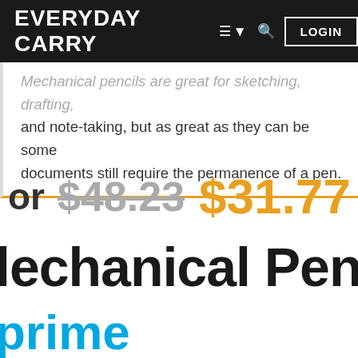EVERYDAY CARRY  LOGIN
Mechanical pencils are great for sketching, drafting, and note-taking, but as great as they can be some documents still require the permanence of a pen.
or $48.23 $31.77
Mechanical Pencils
[Figure (logo): Amazon Prime logo showing 'prime' in teal/blue color]